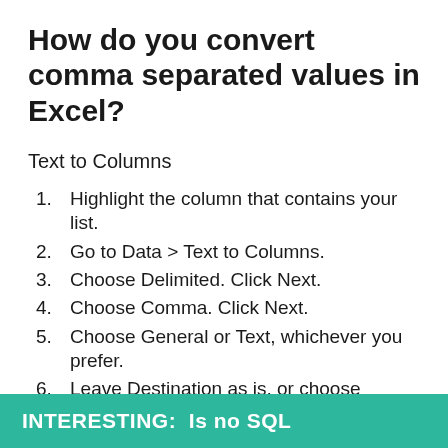How do you convert comma separated values in Excel?
Text to Columns
Highlight the column that contains your list.
Go to Data > Text to Columns.
Choose Delimited. Click Next.
Choose Comma. Click Next.
Choose General or Text, whichever you prefer.
Leave Destination as is, or choose another column. Click Finish.
INTERESTING:  Is no SQL